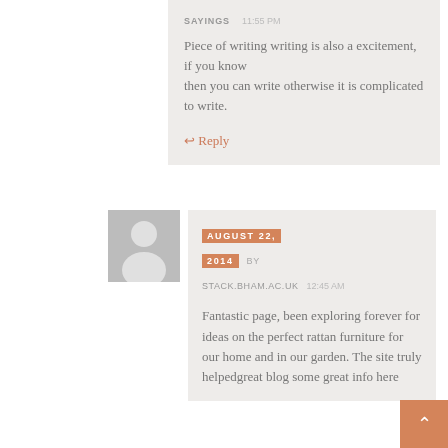SAYINGS   11:55 PM
Piece of writing writing is also a excitement, if you know then you can write otherwise it is complicated to write.
↩ Reply
[Figure (illustration): Generic user avatar silhouette, gray background]
AUGUST 22, 2014 BY STACK.BHAM.AC.UK   12:45 AM
Fantastic page, been exploring forever for ideas on the perfect rattan furniture for our home and in our garden. The site truly helpedgreat blog some great info here